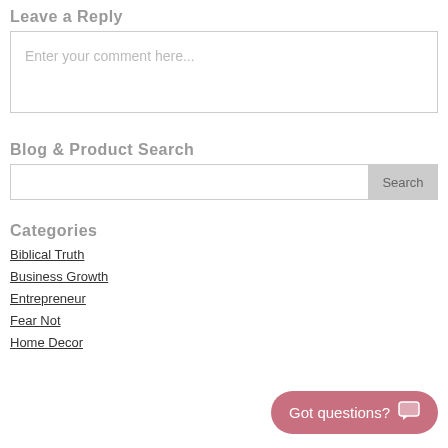Leave a Reply
Enter your comment here...
Blog & Product Search
Search
Categories
Biblical Truth
Business Growth
Entrepreneur
Fear Not
Home Decor
Got questions?